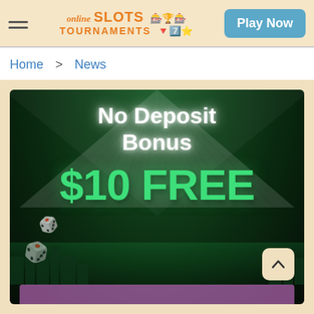online SLOTS TOURNAMENTS — Play Now
Home > News
[Figure (illustration): Promotional banner for an online casino. Dark green radial background with white glowing text 'No Deposit Bonus' at top and large green '$10 FREE' text below. Small city silhouette at bottom, casino dice icons, and a pink/purple button at the bottom edge. A back-to-top arrow button in the bottom right corner.]